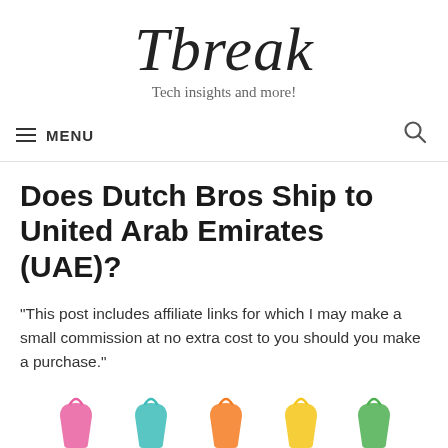Tbreak
Tech insights and more!
MENU
Does Dutch Bros Ship to United Arab Emirates (UAE)?
"This post includes affiliate links for which I may make a small commission at no extra cost to you should you make a purchase."
[Figure (illustration): Row of colorful shopping bag icons in pink, teal, orange, yellow, and green at the bottom of the page]